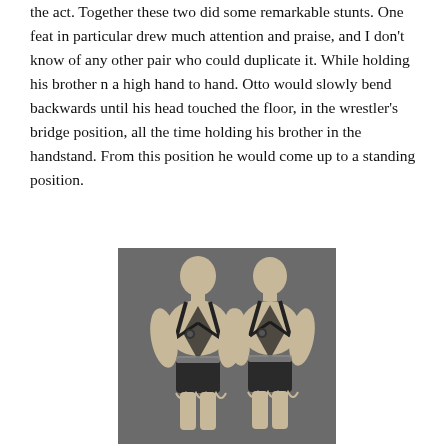the act. Together these two did some remarkable stunts. One feat in particular drew much attention and praise, and I don't know of any other pair who could duplicate it. While holding his brother n a high hand to hand. Otto would slowly bend backwards until his head touched the floor, in the wrestler's bridge position, all the time holding his brother in the handstand. From this position he would come up to a standing position.
[Figure (photo): Black and white vintage photograph of two male acrobats/strongmen standing side by side, wearing matching decorative wrestling/acrobatic costumes with harnesses and ornate shorts with scalloped borders.]